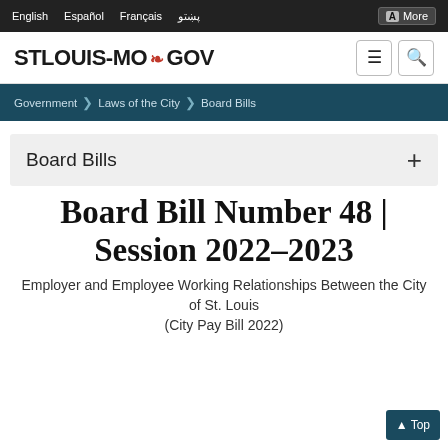English  Español  Français  پښتو  More
[Figure (logo): STLOUIS-MO fleur-de-lis GOV logo with hamburger menu and search icons]
Government > Laws of the City > Board Bills
Board Bills
Board Bill Number 48 | Session 2022–2023
Employer and Employee Working Relationships Between the City of St. Louis (City Pay Bill 2022)